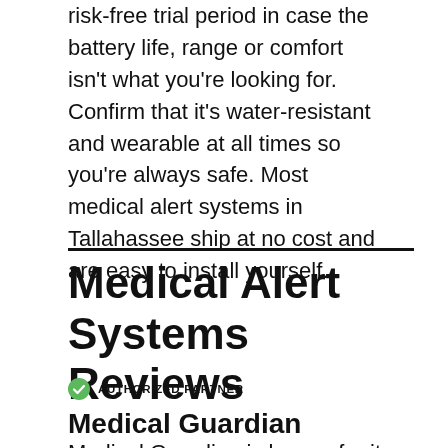risk-free trial period in case the battery life, range or comfort isn't what you're looking for. Confirm that it's water-resistant and wearable at all times so you're always safe. Most medical alert systems in Tallahassee ship at no cost and are easy to install yourself.
Medical Alert Systems Reviews
AUTHORIZED PARTNER
Medical Guardian
Medical Guardian is known for its most...